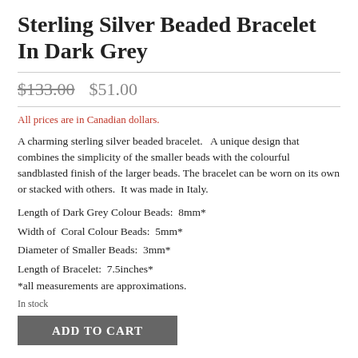Sterling Silver Beaded Bracelet In Dark Grey
$133.00  $51.00
All prices are in Canadian dollars.
A charming sterling silver beaded bracelet.   A unique design that combines the simplicity of the smaller beads with the colourful sandblasted finish of the larger beads. The bracelet can be worn on its own or stacked with others.  It was made in Italy.
Length of Dark Grey Colour Beads:  8mm*
Width of  Coral Colour Beads:  5mm*
Diameter of Smaller Beads:  3mm*
Length of Bracelet:  7.5inches*
*all measurements are approximations.
In stock